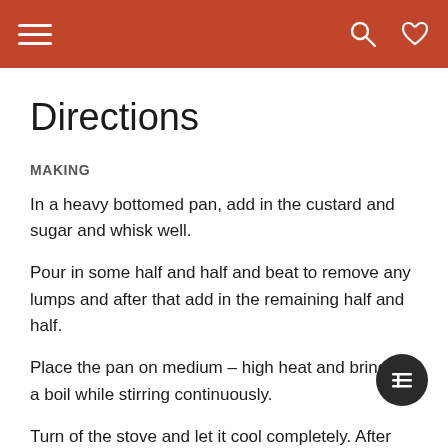Navigation header with hamburger menu, search and heart icons
Directions
MAKING
In a heavy bottomed pan, add in the custard and sugar and whisk well.
Pour in some half and half and beat to remove any lumps and after that add in the remaining half and half.
Place the pan on medium – high heat and bring to a boil while stirring continuously.
Turn of the stove and let it cool completely. After that refrigerate for sometime.